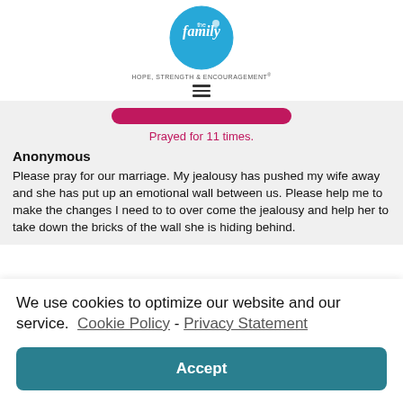The Family – Hope, Strength & Encouragement
Prayed for 11 times.
Anonymous
Please pray for our marriage. My jealousy has pushed my wife away and she has put up an emotional wall between us. Please help me to make the changes I need to to over come the jealousy and help her to take down the bricks of the wall she is hiding behind.
We use cookies to optimize our website and our service.  Cookie Policy - Privacy Statement
Accept